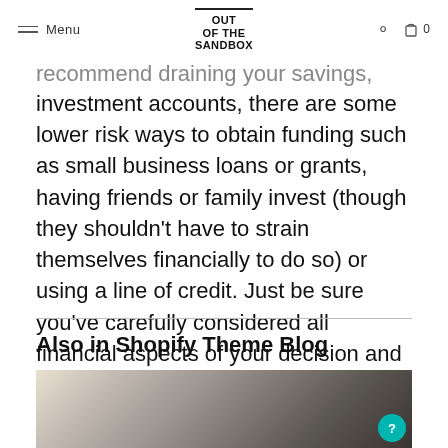Menu | OUT OF THE SANDBOX | search | bag 0
recommend draining your savings, retirement or investment accounts, there are some lower risk ways to obtain funding such as small business loans or grants, having friends or family invest (though they shouldn't have to strain themselves financially to do so) or using a line of credit. Just be sure you've carefully considered all financial aspects of your decision and what will happen if you can't pay it back.
Also in Shopify Theme Blog
[Figure (photo): A blurred/bokeh office or workspace photo used as a blog post thumbnail]